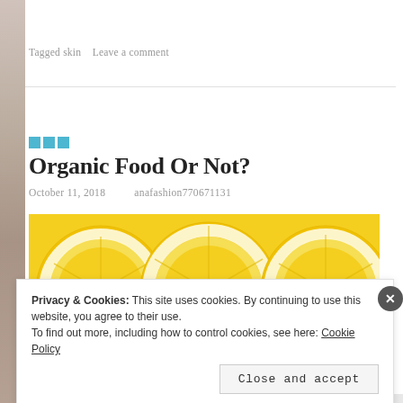Tagged skin   Leave a comment
□□□
Organic Food Or Not?
October 11, 2018   anafashion770671131
[Figure (photo): Close-up photo of sliced lemons showing yellow flesh and white pith]
Privacy & Cookies: This site uses cookies. By continuing to use this website, you agree to their use. To find out more, including how to control cookies, see here: Cookie Policy
Close and accept